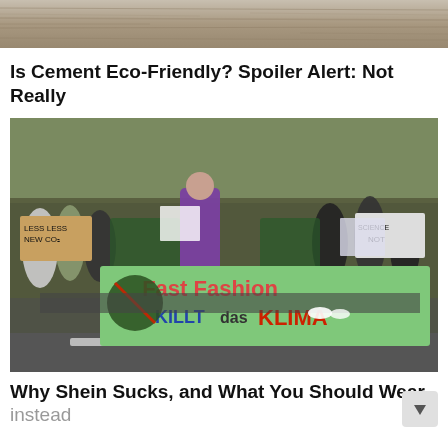[Figure (photo): Partial top of image, showing what appears to be a textured wooden or stone surface]
Is Cement Eco-Friendly? Spoiler Alert: Not Really
[Figure (photo): Protest march with people holding a large green banner reading 'Fast Fashion KILLT das KLIMA' along with various signs including 'LESS NEW CO2' and 'SCIENCE NOT']
Why Shein Sucks, and What You Should Wear instead